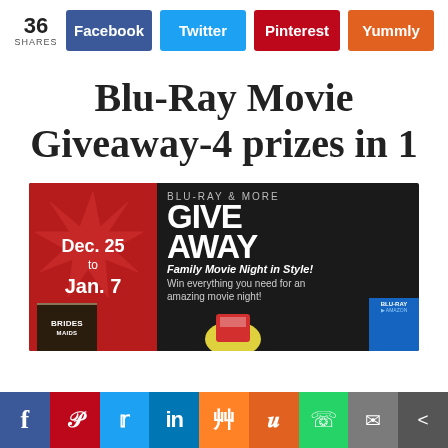36 SHARES Facebook Twitter Pinterest Yummly
Blu-Ray Movie Giveaway-4 prizes in 1
[Figure (illustration): Giveaway banner for Blu-Ray & More Giveaway, showing dates Dec. 25 to Jan. 7, text 'BLU-RAY & MORE GIVEAWAY', 'Family Movie Night in Style!', 'Win everything you need for an amazing movie night!', with movie boxes and popcorn images at bottom.]
[Figure (infographic): Social share footer bar with icons: Facebook (blue), Pinterest (red), Twitter (blue), LinkedIn (blue), Mix (orange), Yummly (orange), WhatsApp (green), Mail (grey), Share (dark grey)]